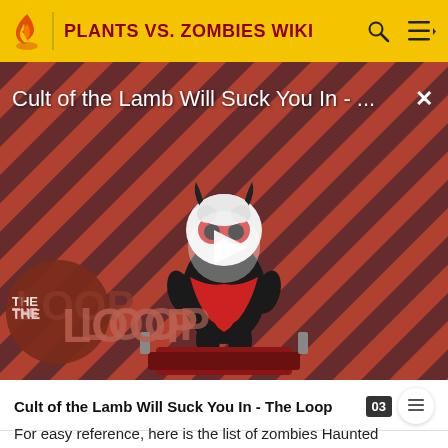PLANTS VS. ZOMBIES WIKI
[Figure (screenshot): Video thumbnail for 'Cult of the Lamb Will Suck You In - The Loop' showing a cartoon lamb character with red eyes on a red and black striped background, with a play button in the center and 'THE LOOP' text badge in the lower left.]
Cult of the Lamb Will Suck You In - The Loop
For easy reference, here is the list of zombies Haunted Pumpking can Conjure: